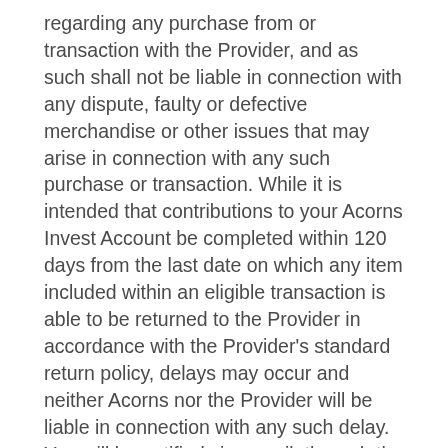regarding any purchase from or transaction with the Provider, and as such shall not be liable in connection with any dispute, faulty or defective merchandise or other issues that may arise in connection with any such purchase or transaction. While it is intended that contributions to your Acorns Invest Account be completed within 120 days from the last date on which any item included within an eligible transaction is able to be returned to the Provider in accordance with the Provider's standard return policy, delays may occur and neither Acorns nor the Provider will be liable in connection with any such delay. You will be notified via e-mail, through the Acorns mobile application or via other means within 72 hours of successfully completing an eligible transaction included within this promotion, however Acorns will not be liable in the event any such notice is not timely sent or